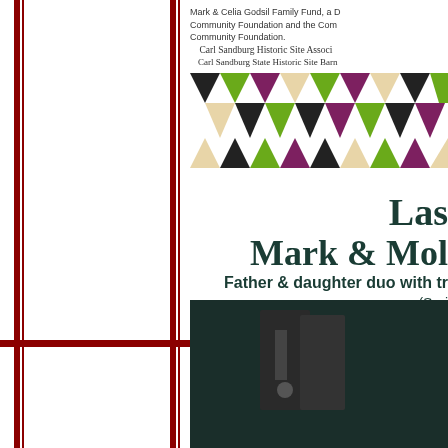Mark & Celia Godsil Family Fund, a D Community Foundation and the Com Community Foundation.
Carl Sandburg Historic Site Associ
Carl Sandburg State Historic Site Barn
[Figure (illustration): Decorative banner with colorful alternating triangles in black, green, purple, and beige/cream colors arranged in rows.]
Las
Mark & Mol
Father & daughter duo with tr
(Spri
David
Blues harmonica
(Tu
[Figure (photo): Dark photo of a person playing harmonica, dimly lit against dark background.]